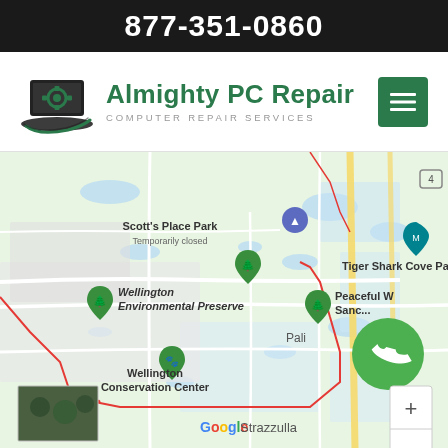877-351-0860
[Figure (logo): Almighty PC Repair logo with laptop and gear icon, company name and tagline 'Computer Repair Services']
[Figure (map): Google Maps screenshot showing Wellington, FL area with markers for Scott's Place Park (Temporarily closed), Tiger Shark Cove Park, Wellington Environmental Preserve, Peaceful W Sanctuary, Wellington Conservation Center, and Pali area. Red boundary lines outline Wellington area. Yellow road visible on right side. Zoom controls and phone button visible.]